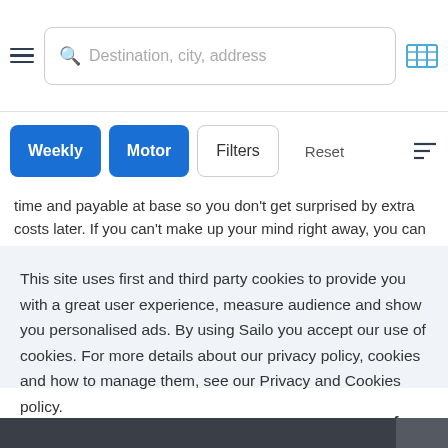[Figure (screenshot): Navigation bar with hamburger menu, search box with placeholder 'Destination, city, address', and map icon]
[Figure (screenshot): Filter buttons row with 'Weekly' (blue active), 'Motor' (blue active), 'Filters' (outline), 'Reset' (outline), and sort icon]
time and payable at base so you don't get surprised by extra costs later. If you can't make up your mind right away, you can use the
4hrs nce! for a
This site uses first and third party cookies to provide you with a great user experience, measure audience and show you personalised ads. By using Sailo you accept our use of cookies. For more details about our privacy policy, cookies and how to manage them, see our Privacy and Cookies policy.
Learn more
Got it!